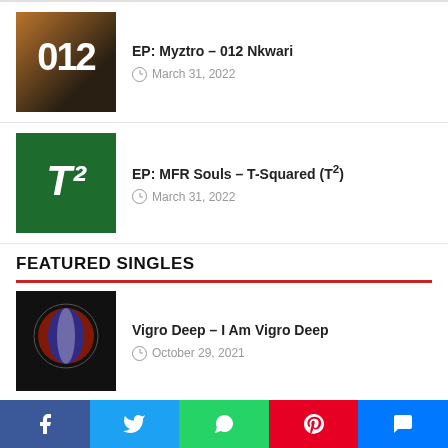[Figure (photo): Album art for Myztro 012 Nkwari EP]
EP: Myztro – 012 Nkwari
March 31, 2022
[Figure (photo): Album art for MFR Souls T-Squared (T²) EP]
EP: MFR Souls – T-Squared (T²)
March 31, 2022
FEATURED SINGLES
[Figure (photo): Album art for Vigro Deep I Am Vigro Deep single]
Vigro Deep – I Am Vigro Deep
October 29, 2021
[Figure (photo): Album art for Q-Mark & TpZee Paris ft Afriikan Papi single]
Q-Mark & TpZee – Paris ft Afriikan Papi